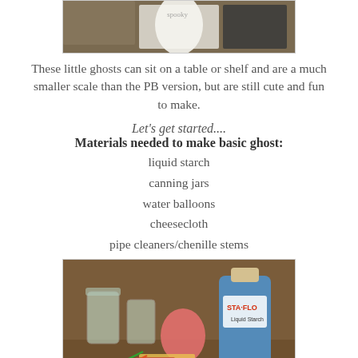[Figure (photo): Photo of little ghost decorations sitting on a table with luggage/suitcases in the background]
These little ghosts can sit on a table or shelf and are a much smaller scale than the PB version, but are still cute and fun to make.
Let's get started....
Materials needed to make basic ghost:
liquid starch
canning jars
water balloons
cheesecloth
pipe cleaners/chenille stems
[Figure (photo): Photo of craft materials: glass canning jars, a pink water balloon, a large blue bottle of Sta-Flo liquid starch, and other supplies on a brown table]